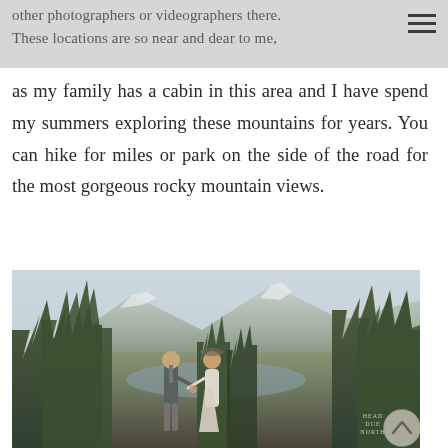other photographers or videographers there. These locations are so near and dear to me,
as my family has a cabin in this area and I have spend my summers exploring these mountains for years. You can hike for miles or park on the side of the road for the most gorgeous rocky mountain views.
[Figure (photo): A couple holding hands among pine trees with a mountain lake and snowy peaks in the background. The man wears a suit and the woman wears a flowy white dress.]